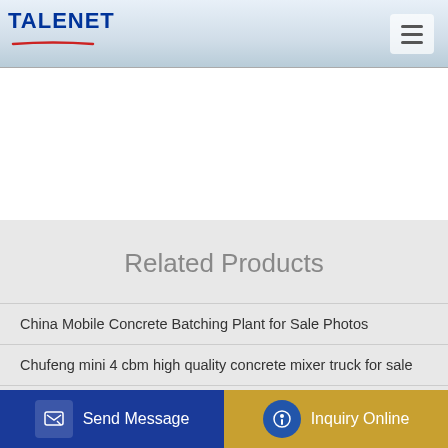TALENET
Related Products
China Mobile Concrete Batching Plant for Sale Photos
Chufeng mini 4 cbm high quality concrete mixer truck for sale
new HZS180 continuous batch plant supplier
50cbm per hour pre mix concrete mixing plant hzs50
Send Message  Inquiry Online